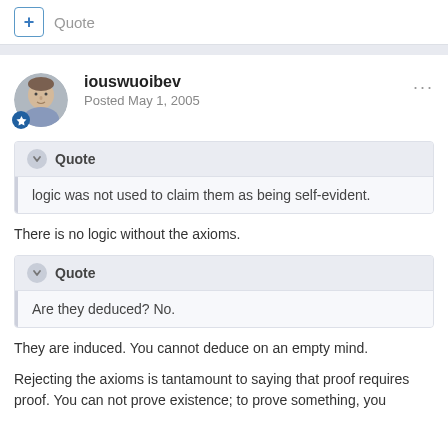+ Quote
iouswuoibev
Posted May 1, 2005
Quote
logic was not used to claim them as being self-evident.
There is no logic without the axioms.
Quote
Are they deduced? No.
They are induced. You cannot deduce on an empty mind.
Rejecting the axioms is tantamount to saying that proof requires proof. You can not prove existence; to prove something, you